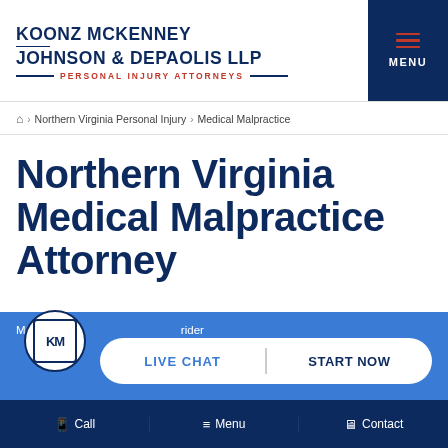KOONZ MCKENNEY JOHNSON & DEPAOLIS LLP — PERSONAL INJURY ATTORNEYS | MENU
⌂ > Northern Virginia Personal Injury > Medical Malpractice
Northern Virginia Medical Malpractice Attorney
Medical malpractice ... provider
LIVE CHAT | START NOW
Call  Menu  Contact